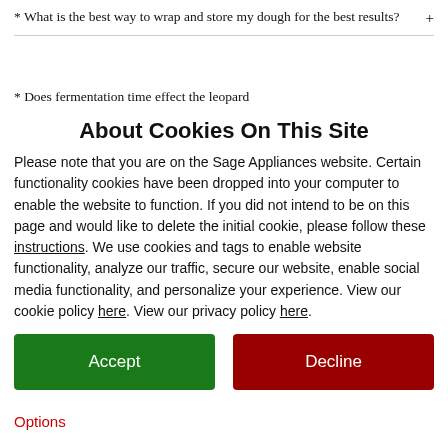* What is the best way to wrap and store my dough for the best results?
* Does fermentation time effect the leopard
About Cookies On This Site
Please note that you are on the Sage Appliances website. Certain functionality cookies have been dropped into your computer to enable the website to function. If you did not intend to be on this page and would like to delete the initial cookie, please follow these instructions. We use cookies and tags to enable website functionality, analyze our traffic, secure our website, enable social media functionality, and personalize your experience. View our cookie policy here. View our privacy policy here.
Accept
Decline
Options